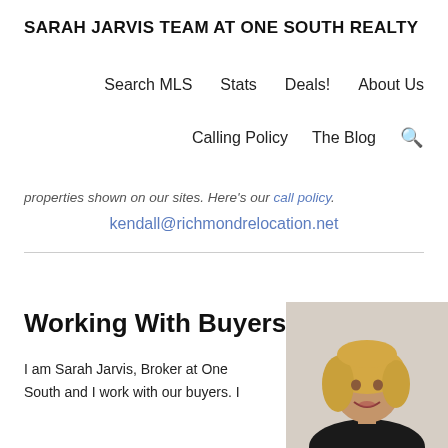SARAH JARVIS TEAM AT ONE SOUTH REALTY
Search MLS  Stats  Deals!  About Us  Calling Policy  The Blog
properties shown on our sites. Here's our call policy.
kendall@richmondrelocation.net
Working With Buyers
I am Sarah Jarvis, Broker at One South and I work with our buyers. I
[Figure (photo): Portrait photo of Sarah Jarvis, a woman with blonde wavy hair wearing a dark blazer, smiling]